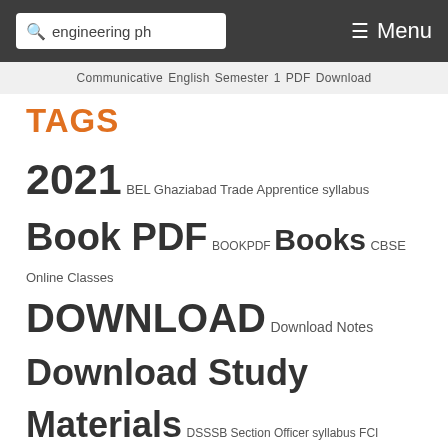engineering ph  Menu
Communicative English Semester 1 PDF Download
TAGS
2021 BEL Ghaziabad Trade Apprentice syllabus Book PDF BOOKPDF Books CBSE Online Classes DOWNLOAD Download Notes Download Study Materials DSSSB Section Officer syllabus FCI Assistant General Manager syllabus free Free Download Study Materials HSSC Fire Operator syllabus Karnataka High Court Civil Judge syllabus KPSC Junior Training Officer syllabus KPSC Junior Training Officer syllabus 2022 MBA MMRDA Station Master syllabus MMRDA Station Master syllabus 2022 MPPSC State Service Mains syllabus NACIN